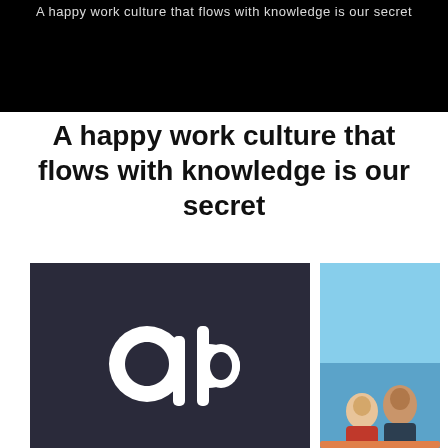A happy work culture that flows with knowledge is our secret
A happy work culture that flows with knowledge is our secret
[Figure (logo): Dark background with a stylized white and dark interlocking 'qb' or 'pb' logo mark on a dark navy/charcoal wall, with a white pillar to the right]
[Figure (photo): Partial photo showing two people smiling, appearing to be on a boat or outdoor event, with blue sky/water in the background]